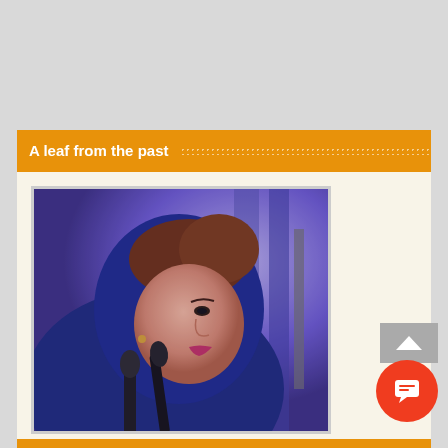A leaf from the past
[Figure (photo): A woman wearing a blue headscarf speaking at a podium with microphones, photographed in profile against a blurred background with stage lighting.]
Film and broadcasting policy to be announced soon: minister
August 26, 2017